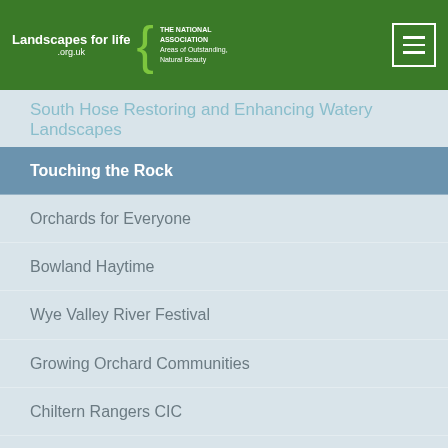Landscapes for life .org.uk — THE NATIONAL ASSOCIATION Areas of Outstanding Natural Beauty
South Hose Restoring and Enhancing Watery Landscapes
Touching the Rock
Orchards for Everyone
Bowland Haytime
Wye Valley River Festival
Growing Orchard Communities
Chiltern Rangers CIC
Farms for AONBees
Working with volunteers
Life on the Verge
People Enjoying Nature